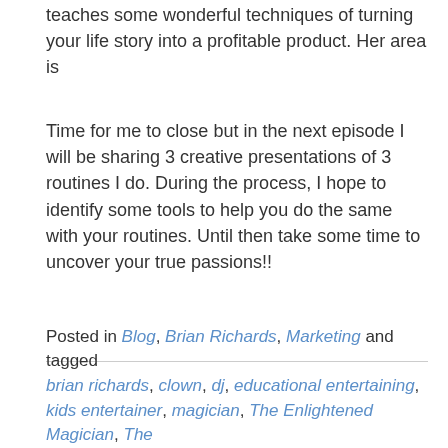teaches some wonderful techniques of turning your life story into a profitable product.  Her area is
Time for me to close but in the next episode I will be sharing 3 creative presentations of 3 routines I do.  During the process, I hope to identify some tools to help you do the same with your routines.  Until then take some time to uncover your true passions!!
Posted in Blog, Brian Richards, Marketing and tagged brian richards, clown, dj, educational entertaining, kids entertainer, magician, The Enlightened Magician, The